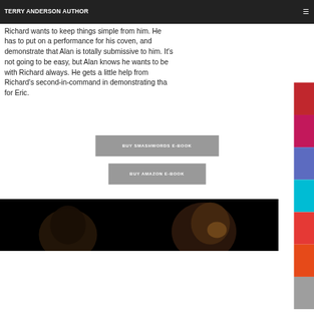TERRY ANDERSON AUTHOR
Richard wants to keep things simple from him. He has to put on a performance for his coven, and demonstrate that Alan is totally submissive to him. It's not going to be easy, but Alan knows he wants to be with Richard always. He gets a little help from Richard's second-in-command in demonstrating that for Eric.
BUY SMASHWORDS E-BOOK
BUY AMAZON E-BOOK
[Figure (photo): Dark photo showing two faces partially lit against a black background]
POWERED BY weebly